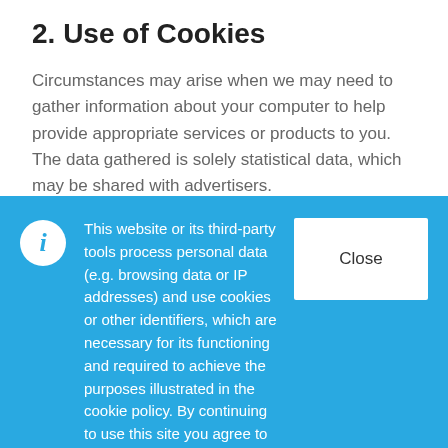2. Use of Cookies
Circumstances may arise when we may need to gather information about your computer to help provide appropriate services or products to you. The data gathered is solely statistical data, which may be shared with advertisers.
This website or its third-party tools process personal data (e.g. browsing data or IP addresses) and use cookies or other identifiers, which are necessary for its functioning and required to achieve the purposes illustrated in the cookie policy. By continuing to use this site you agree to our use of cookies.